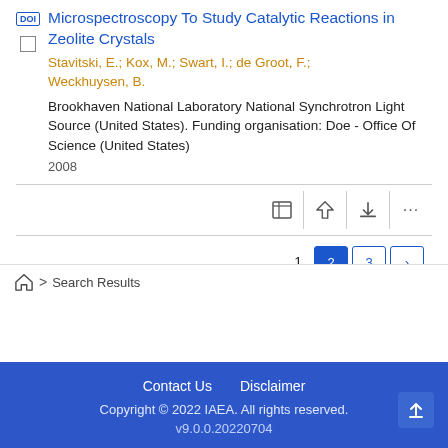Microspectroscopy To Study Catalytic Reactions in Zeolite Crystals
Stavitski, E.; Kox, M.; Swart, I.; de Groot, F.; Weckhuysen, B.
Brookhaven National Laboratory National Synchrotron Light Source (United States). Funding organisation: Doe - Office Of Science (United States)
2008
1  2  3  >
Search Results
Contact Us   Disclaimer
Copyright © 2022 IAEA. All rights reserved.
v9.0.0.20220704